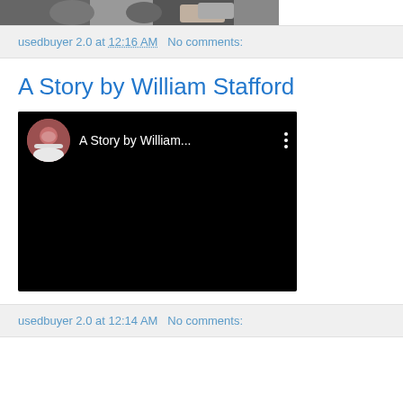[Figure (photo): Partial top of a photo showing people in suits, cropped at top of page]
usedbuyer 2.0 at 12:16 AM   No comments:
A Story by William Stafford
[Figure (screenshot): Embedded YouTube video player showing 'A Story by William...' with a bearded man avatar thumbnail, video content is black]
usedbuyer 2.0 at 12:14 AM   No comments: